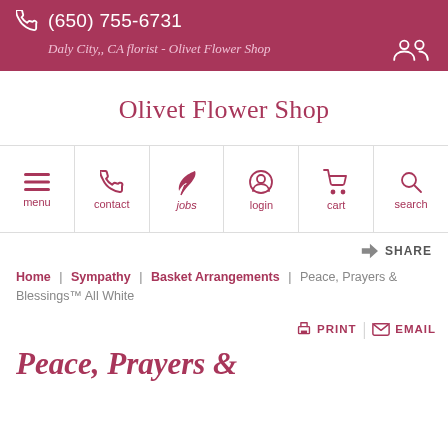(650) 755-6731  Daly City,, CA florist - Olivet Flower Shop
Olivet Flower Shop
[Figure (infographic): Navigation bar with icons for menu, contact, jobs, login, cart, search]
SHARE
Home | Sympathy | Basket Arrangements | Peace, Prayers & Blessings™ All White
PRINT  EMAIL
Peace, Prayers &